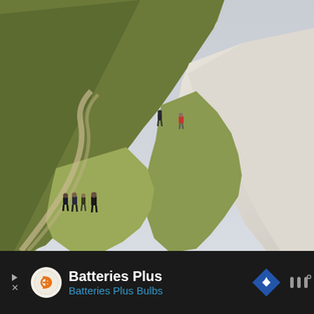[Figure (photo): A dramatic chalk cliff face with green grassy top. Two people visible near the cliff edge in the upper portion, and a group of about four people standing on a lower ledge. White chalk cliff face drops steeply on the right side. Overcast grey sky in the background.]
[Figure (infographic): Advertisement bar at bottom. Dark background with Batteries Plus logo (orange circle with plus sign), text 'Batteries Plus' in white bold and 'Batteries Plus Bulbs' in blue, a blue navigation diamond icon, and a mute/volume icon on the right.]